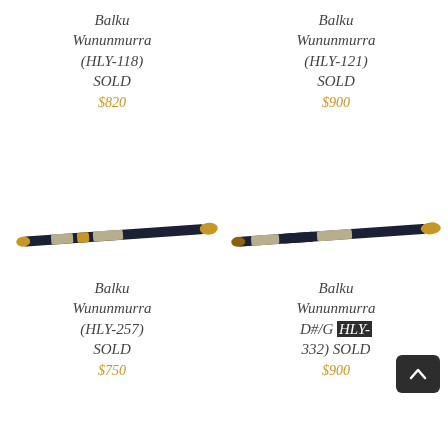Balku Wununmurra (HLY-118) SOLD
$820
Balku Wununmurra (HLY-121) SOLD
$900
[Figure (photo): Decorative didgeridoo painted in dark navy/black with gold and cream dotted patterns, angled slightly]
[Figure (photo): Decorative didgeridoo painted in dark navy/black with cream dotted patterns and gold tip, angled slightly]
Balku Wununmurra (HLY-257) SOLD
$750
Balku Wununmurra D#/G (HLY-332) SOLD
$900